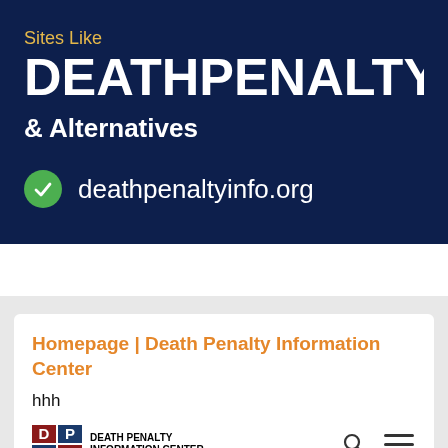Sites Like
DEATHPENALTYINFO
& Alternatives
deathpenaltyinfo.org
Homepage | Death Penalty Information Center
hhh
[Figure (logo): Death Penalty Information Center logo with DPIC letters in colored blocks and organization name text, with search and hamburger menu icons]